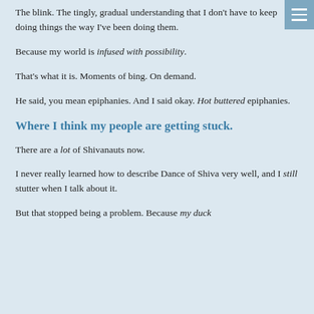The blink. The tingly, gradual understanding that I don't have to keep doing things the way I've been doing them.
Because my world is infused with possibility.
That's what it is. Moments of bing. On demand.
He said, you mean epiphanies. And I said okay. Hot buttered epiphanies.
Where I think my people are getting stuck.
There are a lot of Shivanauts now.
I never really learned how to describe Dance of Shiva very well, and I still stutter when I talk about it.
But that stopped being a problem. Because my duck